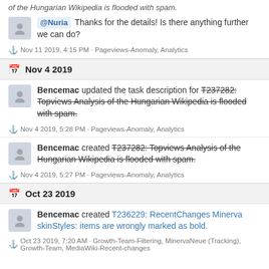of the Hungarian Wikipedia is flooded with spam.
@Nuria Thanks for the details! Is there anything further we can do?
Nov 11 2019, 4:15 PM · Pageviews-Anomaly, Analytics
Nov 4 2019
Bencemac updated the task description for T237282: Topviews Analysis of the Hungarian Wikipedia is flooded with spam.
Nov 4 2019, 5:28 PM · Pageviews-Anomaly, Analytics
Bencemac created T237282: Topviews Analysis of the Hungarian Wikipedia is flooded with spam.
Nov 4 2019, 5:27 PM · Pageviews-Anomaly, Analytics
Oct 23 2019
Bencemac created T236229: RecentChanges Minerva skinStyles: items are wrongly marked as bold.
Oct 23 2019, 7:20 AM · Growth-Team-Filtering, MinervaNeue (Tracking), Growth-Team, MediaWiki-Recent-changes